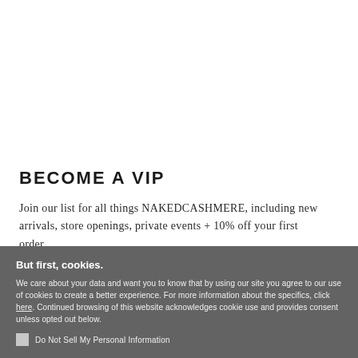BECOME A VIP
Join our list for all things NAKEDCASHMERE, including new arrivals, store openings, private events + 10% off your first order.
But first, cookies.
We care about your data and want you to know that by using our site you agree to our use of cookies to create a better experience. For more information about the specifics, click here. Continued browsing of this website acknowledges cookie use and provides consent unless opted out below.
Do Not Sell My Personal Information